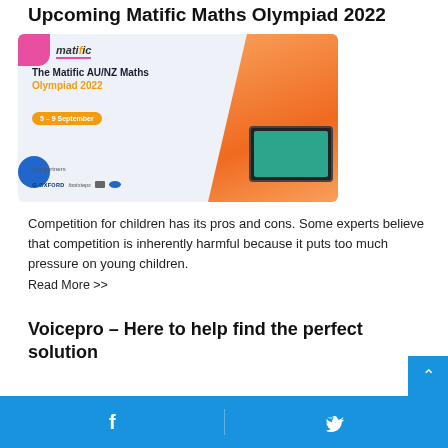Upcoming Matific Maths Olympiad 2022
[Figure (illustration): Matific AU/NZ Maths Olympiad 2022 promotional banner showing a girl holding a tablet, with text '5-9 September' and partner logos (Oxford, footsteps, and others) on a light blue background with colourful geometric shapes.]
Competition for children has its pros and cons. Some experts believe that competition is inherently harmful because it puts too much pressure on young children.
Read More >>
Voicepro – Here to help find the perfect solution
Facebook  Twitter